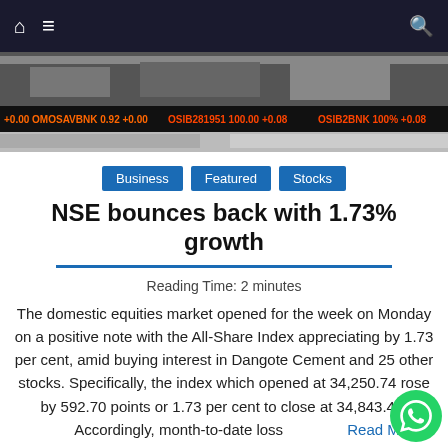Navigation bar with home icon, hamburger menu, and search icon
[Figure (photo): Stock exchange building facade with scrolling ticker showing: +0.00 OMOSAVBNK 0.92 +0.00 OSIB281951 100.00 +0.08 OSIB2BNK 100% +0.08]
Business   Featured   Stocks
NSE bounces back with 1.73% growth
Reading Time: 2 minutes
The domestic equities market opened for the week on Monday on a positive note with the All-Share Index appreciating by 1.73 per cent, amid buying interest in Dangote Cement and 25 other stocks. Specifically, the index which opened at 34,250.74 rose by 592.70 points or 1.73 per cent to close at 34,843.44. Accordingly, month-to-date loss   Read More...
December 15, 2020   metro-admin   Comment(0)